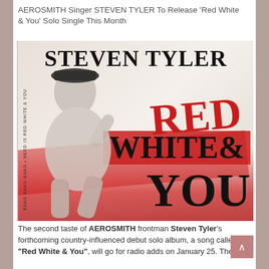AEROSMITH Singer STEVEN TYLER To Release 'Red White & You' Solo Single This Month
[Figure (photo): Album art for Steven Tyler's solo single 'Red White & You'. Black and white photo of Steven Tyler sitting and laughing, wearing a hat and sweater, with bold text overlay: 'STEVEN TYLER' at top, 'RED' in red, 'WHITE &' on red background, 'YOU' in black. Vertical text on left side reads 'BANG BANG BANG'.]
The second taste of AEROSMITH frontman Steven Tyler's forthcoming country-influenced debut solo album, a song called "Red White & You", will go for radio adds on January 25. The